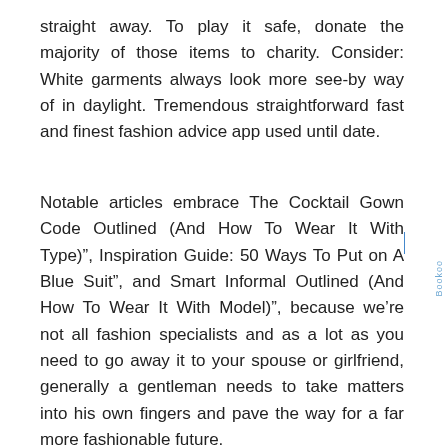straight away. To play it safe, donate the majority of those items to charity. Consider: White garments always look more see-by way of in daylight. Tremendous straightforward fast and finest fashion advice app used until date.
Notable articles embrace The Cocktail Gown Code Outlined (And How To Wear It With Type)", Inspiration Guide: 50 Ways To Put on A Blue Suit", and Smart Informal Outlined (And How To Wear It With Model)", because we’re not all fashion specialists and as a lot as you need to go away it to your spouse or girlfriend, generally a gentleman needs to take matters into his own fingers and pave the way for a far more fashionable future.